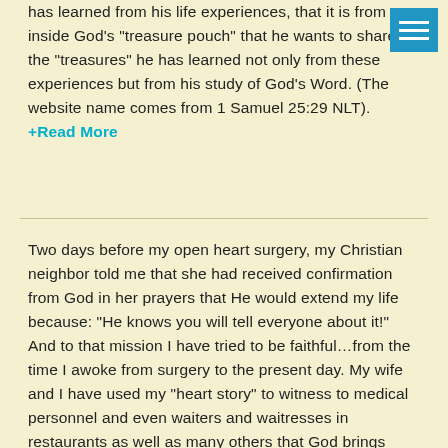has learned from his life experiences, that it is from inside God's “treasure pouch” that he wants to share the “treasures” he has learned not only from these experiences but from his study of God’s Word. (The website name comes from 1 Samuel 25:29 NLT). +Read More
Two days before my open heart surgery, my Christian neighbor told me that she had received confirmation from God in her prayers that He would extend my life because: “He knows you will tell everyone about it!” And to that mission I have tried to be faithful…from the time I awoke from surgery to the present day. My wife and I have used my “heart story” to witness to medical personnel and even waiters and waitresses in restaurants as well as many others that God brings across our paths each day. Truly God has not only given me a “new song” but a whole new mission field. And so my new life focus is reflected by Ps.